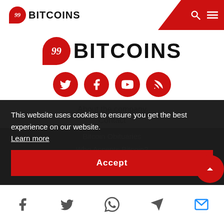99BITCOINS
[Figure (logo): 99Bitcoins large logo with red speech bubble and bold BITCOINS text]
[Figure (infographic): Social media icons: Twitter, Facebook, YouTube, RSS — red circles with white icons]
About the company
Contact
Bitcoin Obituaries
Who Accepts Bitcoin?
Bitcoin Historical Price
Dead Coins
This website uses cookies to ensure you get the best experience on our website. Learn more
Accept